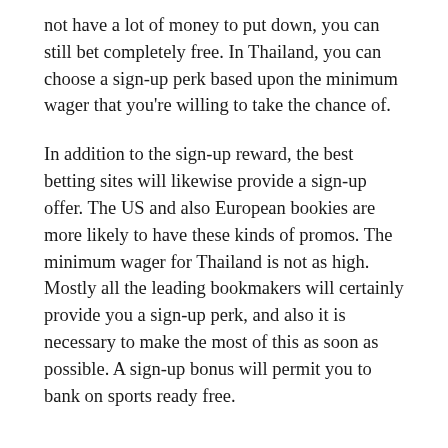not have a lot of money to put down, you can still bet completely free. In Thailand, you can choose a sign-up perk based upon the minimum wager that you're willing to take the chance of.
In addition to the sign-up reward, the best betting sites will likewise provide a sign-up offer. The US and also European bookies are more likely to have these kinds of promos. The minimum wager for Thailand is not as high. Mostly all the leading bookmakers will certainly provide you a sign-up perk, and also it is necessary to make the most of this as soon as possible. A sign-up bonus will permit you to bank on sports ready free.